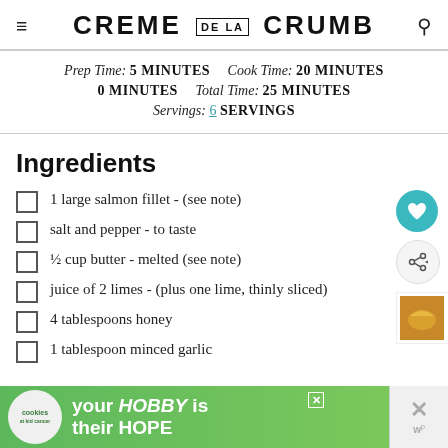CREME DE LA CRUMB
Prep Time: 5 MINUTES   Cook Time: 20 MINUTES   0 MINUTES   Total Time: 25 MINUTES   Servings: 6 SERVINGS
Ingredients
1 large salmon fillet - (see note)
salt and pepper - to taste
½ cup butter - melted (see note)
juice of 2 limes - (plus one lime, thinly sliced)
4 tablespoons honey
1 tablespoon minced garlic